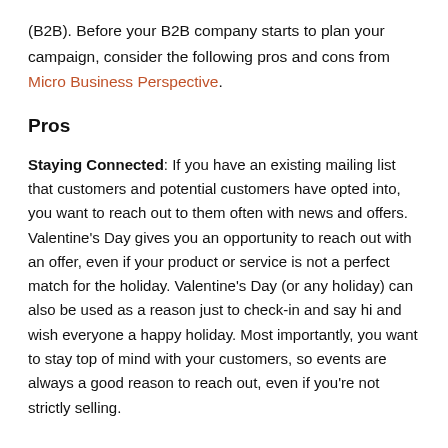(B2B). Before your B2B company starts to plan your campaign, consider the following pros and cons from Micro Business Perspective.
Pros
Staying Connected: If you have an existing mailing list that customers and potential customers have opted into, you want to reach out to them often with news and offers. Valentine’s Day gives you an opportunity to reach out with an offer, even if your product or service is not a perfect match for the holiday. Valentine’s Day (or any holiday) can also be used as a reason just to check-in and say hi and wish everyone a happy holiday. Most importantly, you want to stay top of mind with your customers, so events are always a good reason to reach out, even if you’re not strictly selling.